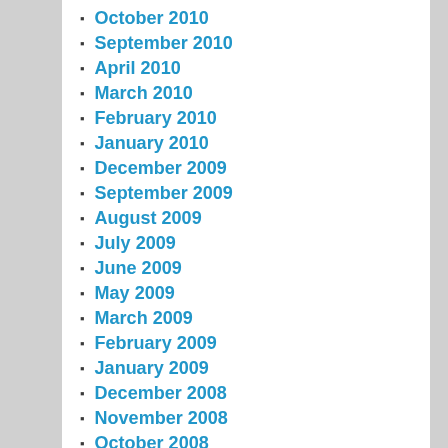October 2010
September 2010
April 2010
March 2010
February 2010
January 2010
December 2009
September 2009
August 2009
July 2009
June 2009
May 2009
March 2009
February 2009
January 2009
December 2008
November 2008
October 2008
September 2008
August 2008
July 2008